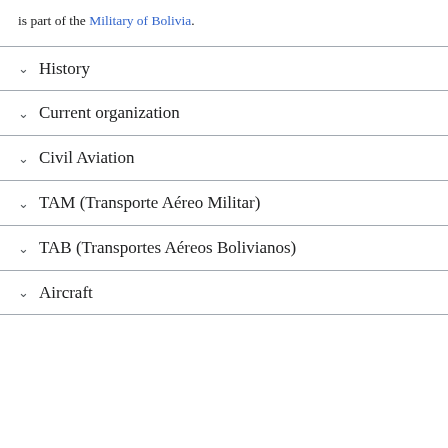is part of the Military of Bolivia.
History
Current organization
Civil Aviation
TAM (Transporte Aéreo Militar)
TAB (Transportes Aéreos Bolivianos)
Aircraft